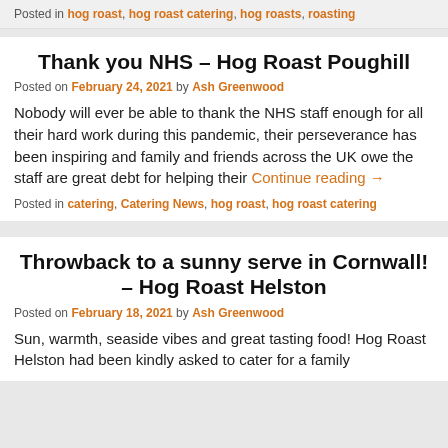Posted in hog roast, hog roast catering, hog roasts, roasting
Thank you NHS – Hog Roast Poughill
Posted on February 24, 2021 by Ash Greenwood
Nobody will ever be able to thank the NHS staff enough for all their hard work during this pandemic, their perseverance has been inspiring and family and friends across the UK owe the staff are great debt for helping their Continue reading →
Posted in catering, Catering News, hog roast, hog roast catering
Throwback to a sunny serve in Cornwall! – Hog Roast Helston
Posted on February 18, 2021 by Ash Greenwood
Sun, warmth, seaside vibes and great tasting food! Hog Roast Helston had been kindly asked to cater for a family